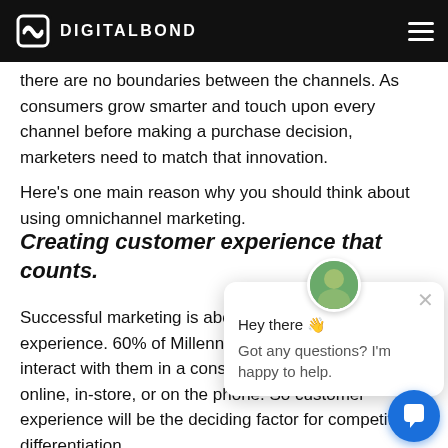DIGITALBOND
there are no boundaries between the channels. As consumers grow smarter and touch upon every channel before making a purchase decision, marketers need to match that innovation.
Here's one main reason why you should think about using omnichannel marketing.
Creating customer experience that counts.
Successful marketing is about creating a great experience. 60% of Millennials expect brands to interact with them in a consistent manner, whether it's online, in-store, or on the phone. So customer experience will be the deciding factor for competitive differentiation.
[Figure (screenshot): Chat popup widget with avatar, 'Hey there' greeting and 'Got any questions? I'm happy to help.' message, plus a blue chat button in the bottom right corner]